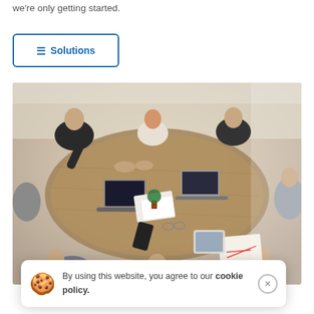we're only getting started.
[Figure (screenshot): A button/UI element with hamburger icon and the label 'Solutions', styled with a blue border and rounded corners.]
[Figure (photo): Overhead/top-down view of a business meeting around a wooden table. Multiple people visible, with laptops, notebooks, phones, and documents on the table.]
By using this website, you agree to our cookie policy.